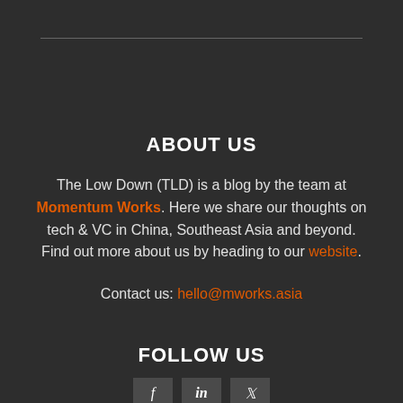ABOUT US
The Low Down (TLD) is a blog by the team at Momentum Works. Here we share our thoughts on tech & VC in China, Southeast Asia and beyond. Find out more about us by heading to our website.
Contact us: hello@mworks.asia
FOLLOW US